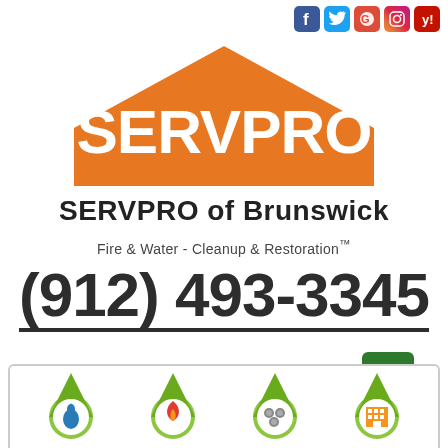[Figure (logo): Social media icons row: Facebook, Twitter, Google Maps, Instagram, Yelp]
[Figure (logo): SERVPRO orange house logo with white SERVPRO text and registered trademark]
SERVPRO of Brunswick
Fire & Water - Cleanup & Restoration™
(912) 493-3345
[Figure (infographic): REQUEST HELP ONLINE button with computer monitor icon, and green hamburger menu button]
[Figure (infographic): Four service category icons in green map pin style: water damage (blue droplet), fire damage (red flame), mold (grey circles), commercial (orange building)]